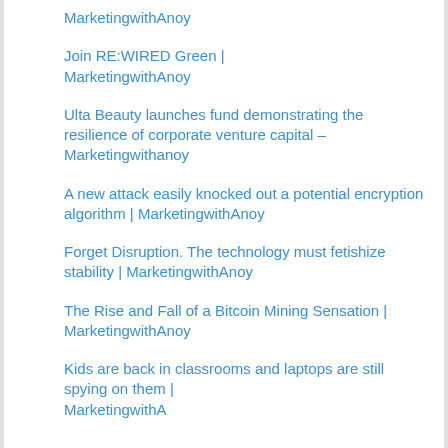MarketingwithAnoy
Join RE:WIRED Green | MarketingwithAnoy
Ulta Beauty launches fund demonstrating the resilience of corporate venture capital – Marketingwithanoy
A new attack easily knocked out a potential encryption algorithm | MarketingwithAnoy
Forget Disruption. The technology must fetishize stability | MarketingwithAnoy
The Rise and Fall of a Bitcoin Mining Sensation | MarketingwithAnoy
Kids are back in classrooms and laptops are still spying on them | Marketingwithanoy